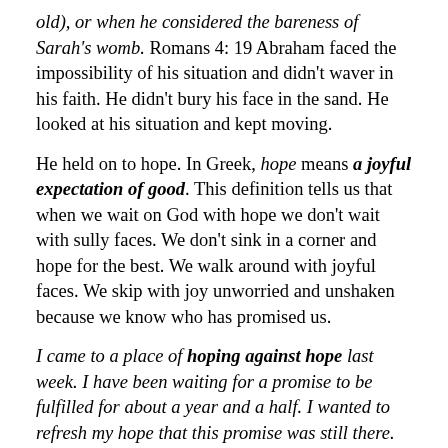old), or when he considered the bareness of Sarah's womb. Romans 4: 19 Abraham faced the impossibility of his situation and didn't waver in his faith. He didn't bury his face in the sand. He looked at his situation and kept moving.
He held on to hope. In Greek, hope means a joyful expectation of good. This definition tells us that when we wait on God with hope we don't wait with sully faces. We don't sink in a corner and hope for the best. We walk around with joyful faces. We skip with joy unworried and unshaken because we know who has promised us.
I came to a place of hoping against hope last week. I have been waiting for a promise to be fulfilled for about a year and a half. I wanted to refresh my hope that this promise was still there. But I received some news that stated the opportunity had long passed me.